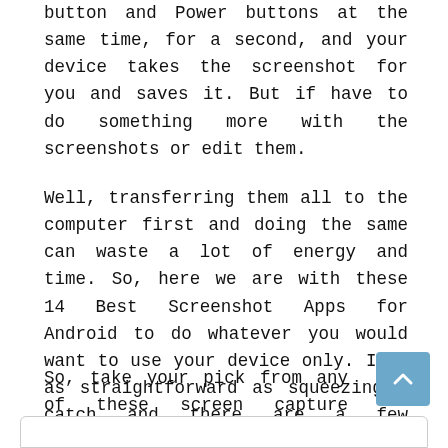button and Power buttons at the same time, for a second, and your device takes the screenshot for you and saves it. But if have to do something more with the screenshots or edit them.
Well, transferring them all to the computer first and doing the same can waste a lot of energy and time. So, here we are with these 14 Best Screenshot Apps for Android to do whatever you would want to use your device only. It’s as straightforward as squeezing a catch and there are a few applications that will make this considerably simpler.
So, take your pick from any of these screen capture applications for Android. Here is how: